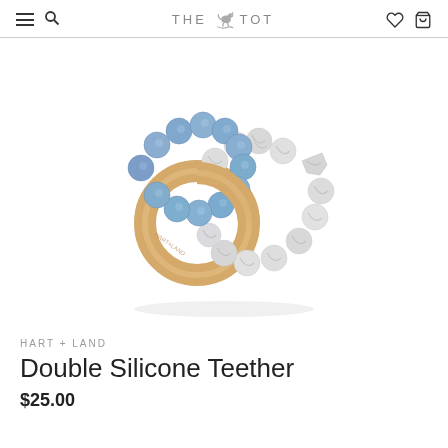THE TOT
[Figure (photo): Double silicone teether with blue silicone beads on one ring, white marble-patterned silicone beads on another ring, and a natural wooden ring, made by Hart + Land]
HART + LAND
Double Silicone Teether
$25.00